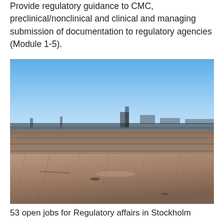Provide regulatory guidance to CMC, preclinical/nonclinical and clinical and managing submission of documentation to regulatory agencies (Module 1-5).
[Figure (photo): Outdoor photograph showing a wooden dock or boardwalk surface in close-up foreground with blurred city skyline and blue clear sky in the background.]
53 open jobs for Regulatory affairs in Stockholm